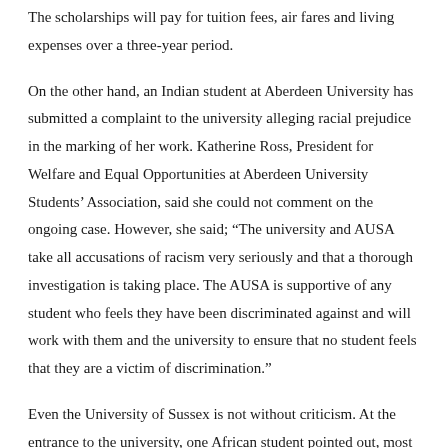The scholarships will pay for tuition fees, air fares and living expenses over a three-year period.
On the other hand, an Indian student at Aberdeen University has submitted a complaint to the university alleging racial prejudice in the marking of her work. Katherine Ross, President for Welfare and Equal Opportunities at Aberdeen University Students' Association, said she could not comment on the ongoing case. However, she said; “The university and AUSA take all accusations of racism very seriously and that a thorough investigation is taking place. The AUSA is supportive of any student who feels they have been discriminated against and will work with them and the university to ensure that no student feels that they are a victim of discrimination.”
Even the University of Sussex is not without criticism. At the entrance to the university, one African student pointed out, most students are greeted in their national tongue. Yet there is no African language represented. The student